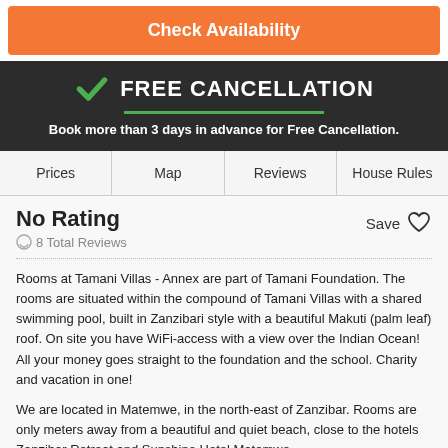Check Availability
FREE CANCELLATION
Book more than 3 days in advance for Free Cancellation.
Prices	Map	Reviews	House Rules
No Rating
8 Total Reviews
Rooms at Tamani Villas - Annex are part of Tamani Foundation. The rooms are situated within the compound of Tamani Villas with a shared swimming pool, built in Zanzibari style with a beautiful Makuti (palm leaf) roof. On site you have WiFi-access with a view over the Indian Ocean! All your money goes straight to the foundation and the school. Charity and vacation in one!
We are located in Matemwe, in the north-east of Zanzibar. Rooms are only meters away from a beautiful and quiet beach, close to the hotels Zanzibar Retreat and Sunshine Hotel Matemwe.